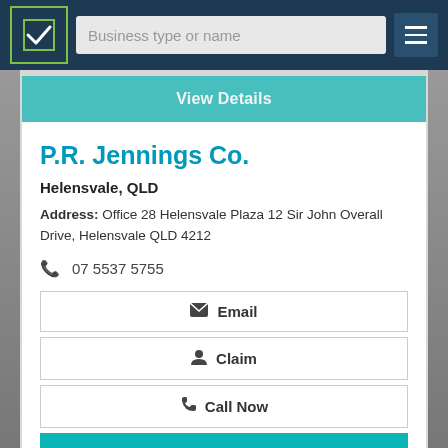Business type or name
P.R. Jennings Co.
Helensvale, QLD
Address: Office 28 Helensvale Plaza 12 Sir John Overall Drive, Helensvale QLD 4212
07 5537 5755
Email
Claim
Call Now
View Details